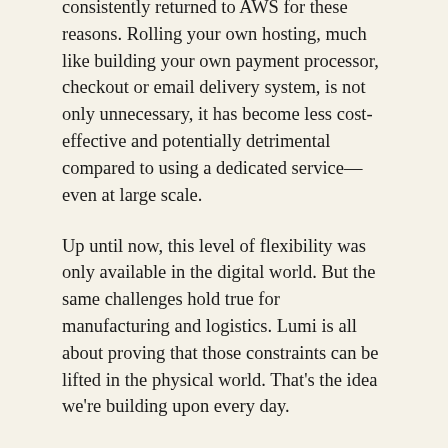consistently returned to AWS for these reasons. Rolling your own hosting, much like building your own payment processor, checkout or email delivery system, is not only unnecessary, it has become less cost-effective and potentially detrimental compared to using a dedicated service—even at large scale.
Up until now, this level of flexibility was only available in the digital world. But the same challenges hold true for manufacturing and logistics. Lumi is all about proving that those constraints can be lifted in the physical world. That's the idea we're building upon every day.
To help accomplish this goal we set out to find people who could finance the next phase of Lumi. At the very top of that list were two names: Spark Capital and Forerunner Ventures. We couldn't be more excited that they agreed. Kevin Thau of Spark led our $9M